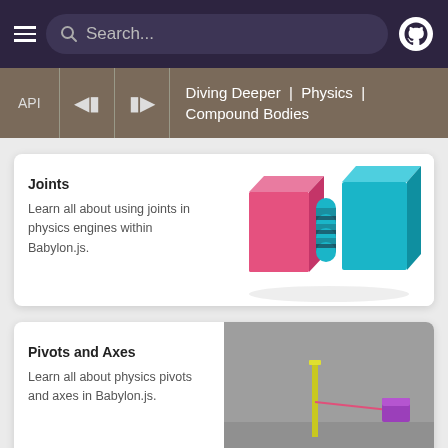Search...
Diving Deeper | Physics | Compound Bodies
Joints
Learn all about using joints in physics engines within Babylon.js.
[Figure (illustration): 3D rendered image of pink and teal geometric blocks connected by a cylindrical joint]
Pivots and Axes
Learn all about physics pivots and axes in Babylon.js.
[Figure (screenshot): 3D scene on gray background showing a yellow vertical pole connected by a pink line to a small purple box]